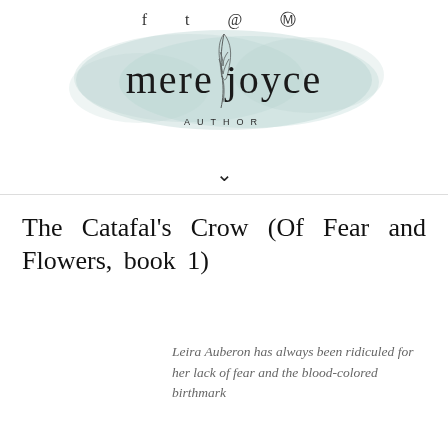f  Twitter  Instagram  Pinterest
[Figure (logo): Mere Joyce Author logo with light teal watercolor splash background, cursive script text reading 'mere joyce' with a feather quill illustration, and 'AUTHOR' in spaced capital letters below]
The Catafal’s Crow (Of Fear and Flowers, book 1)
Leira Auberon has always been ridiculed for her lack of fear and the blood-colored birthmark